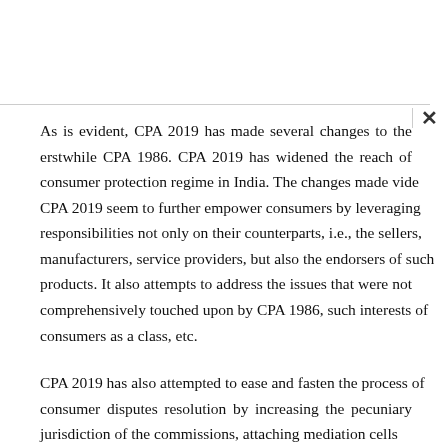As is evident, CPA 2019 has made several changes to the erstwhile CPA 1986. CPA 2019 has widened the reach of consumer protection regime in India. The changes made vide CPA 2019 seem to further empower consumers by leveraging responsibilities not only on their counterparts, i.e., the sellers, manufacturers, service providers, but also the endorsers of such products. It also attempts to address the issues that were not comprehensively touched upon by CPA 1986, such interests of consumers as a class, etc.
CPA 2019 has also attempted to ease and fasten the process of consumer disputes resolution by increasing the pecuniary jurisdiction of the commissions, attaching mediation cells